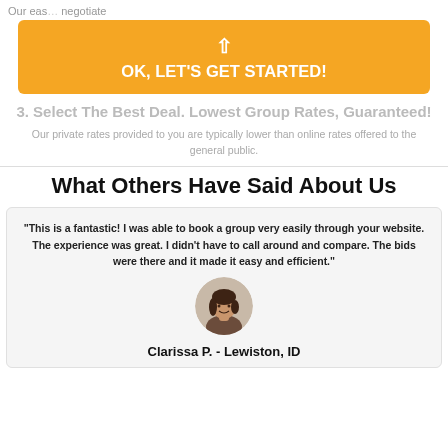Our eas… negotiate
[Figure (infographic): Orange CTA button with upward arrow and text OK, LET'S GET STARTED!]
3. Select The Best Deal. Lowest Group Rates, Guaranteed!
Our private rates provided to you are typically lower than online rates offered to the general public.
What Others Have Said About Us
"This is a fantastic! I was able to book a group very easily through your website. The experience was great. I didn't have to call around and compare. The bids were there and it made it easy and efficient."
[Figure (photo): Circular avatar photo of a woman smiling]
Clarissa P. - Lewiston, ID